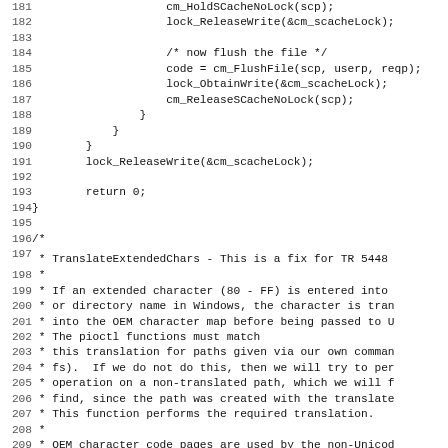Source code listing lines 181-212, showing C code with cm_HoldSCacheNoLock, lock_ReleaseWrite, cm_FlushFile, lock_ObtainWrite, cm_ReleaseSCacheNoLock, lock_ReleaseWrite, return 0, and a comment block for TranslateExtendedChars function explaining OEM character translation for extended characters (80-FF) in Windows file/directory names.